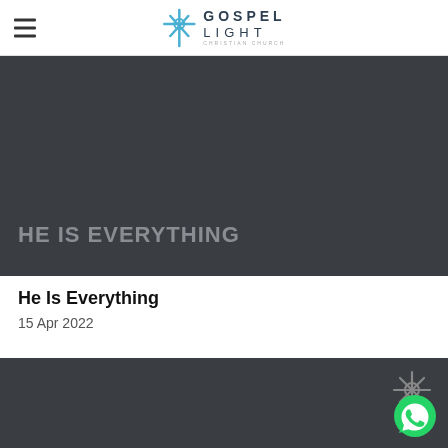Gospel Light Christian Church
[Figure (photo): Dark gray banner with text HE IS EVERYTHING in gray bold uppercase letters]
He Is Everything
15 Apr 2022
[Figure (photo): Dark gray banner with Gospel Light cross logo icon and WhatsApp button icon in the bottom right]